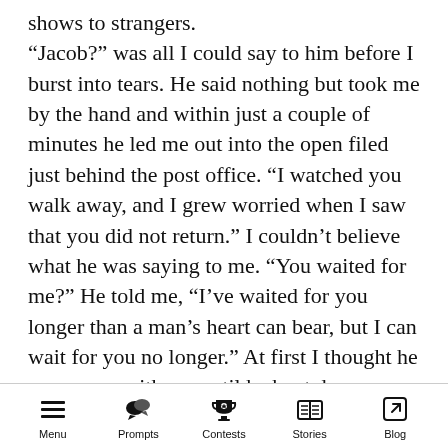shows to strangers. “Jacob?” was all I could say to him before I burst into tears. He said nothing but took me by the hand and within just a couple of minutes he led me out into the open filed just behind the post office. “I watched you walk away, and I grew worried when I saw that you did not return.” I couldn’t believe what he was saying to me. “You waited for me?” He told me, “I’ve waited for you longer than a man’s heart can bear, but I can wait for you no longer.” At first I thought he was angry with me until he bent down on one knee and said, “Please make me the happiest man alive. Marry me.” I was thunderstruck, but not
Menu | Prompts | Contests | Stories | Blog